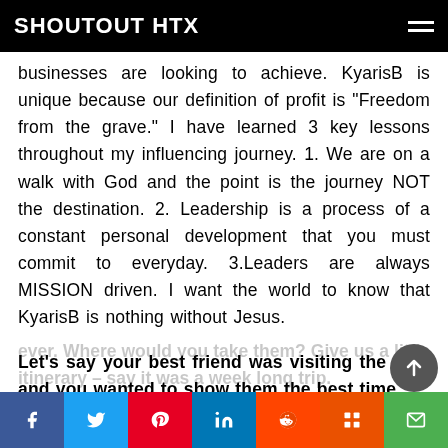SHOUTOUT HTX
businesses are looking to achieve. KyarisB is unique because our definition of profit is “Freedom from the grave.” I have learned 3 key lessons throughout my influencing journey. 1. We are on a walk with God and the point is the journey NOT the destination. 2. Leadership is a process of a constant personal development that you must commit to everyday. 3.Leaders are always MISSION driven. I want the world to know that KyarisB is nothing without Jesus.
Let’s say your best friend was visiting the area and you wanted to show them the best time ever. Where would you take them? Give us a little itinerary – say it was a week long trip.